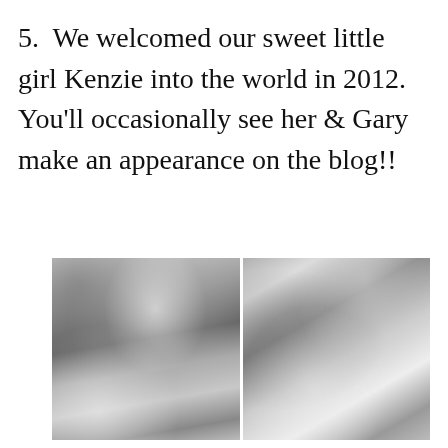5.  We welcomed our sweet little girl Kenzie into the world in 2012.  You'll occasionally see her & Gary make an appearance on the blog!!
[Figure (photo): Two black-and-white photos side by side. Left photo: a couple (man and woman) holding a newborn baby girl in a hospital setting, all smiling. Right photo: a man leaning over a hospital bassinet looking at a newborn baby wrapped in blankets.]